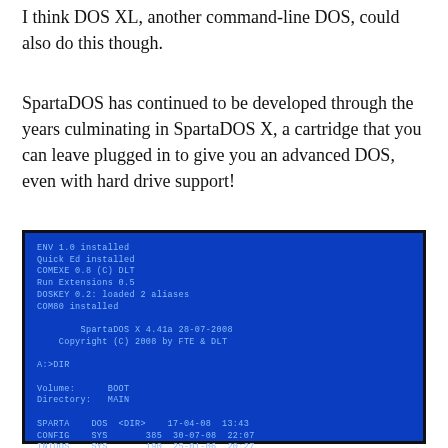I think DOS XL, another command-line DOS, could also do this though.
SpartaDOS has continued to be developed through the years culminating in SpartaDOS X, a cartridge that you can leave plugged in to give you an advanced DOS, even with hard drive support!
[Figure (screenshot): A blue DOS terminal screen showing SpartaDOS X 4.41a boot messages, a DIR command output with Volume: BOOT, Directory: MAIN, listing SPARTA DOS <DIR>, CONFIG SYS 385, INIDOS SYS 190, and 64501 FREE SECTORS, with a prompt A:>]